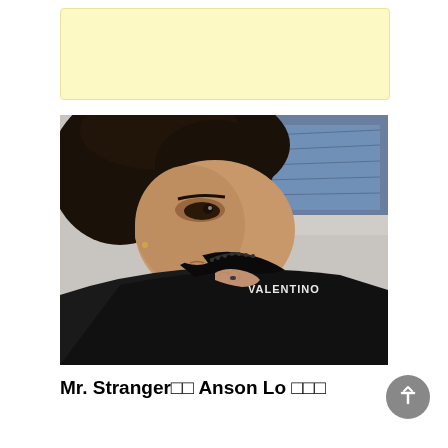[Figure (other): Yellow/cream colored banner or advertisement placeholder area at the top of the page]
[Figure (photo): Close-up photo of a young Asian man with dark hair pulling up the collar of a black Valentino jacket, revealing the Valentino logo text on the garment. A denim jacket collar is visible underneath. The background is light grey.]
Mr. Stranger□□ Anson Lo □□□